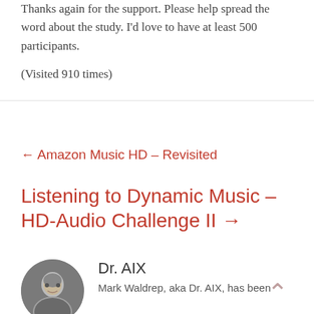Thanks again for the support. Please help spread the word about the study. I'd love to have at least 500 participants.
(Visited 910 times)
← Amazon Music HD – Revisited
Listening to Dynamic Music – HD-Audio Challenge II →
Dr. AIX
Mark Waldrep, aka Dr. AIX, has been